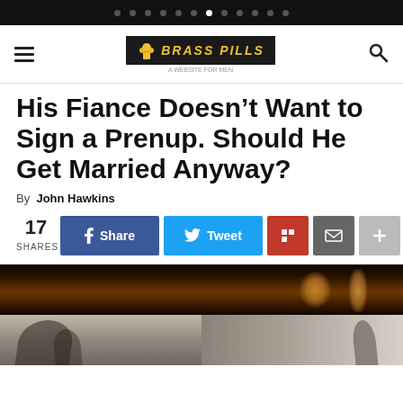Navigation dots / carousel indicator
Brass Pills — A Website For Men (logo header with hamburger menu and search)
His Fiance Doesn't Want to Sign a Prenup. Should He Get Married Anyway?
By John Hawkins
17 SHARES | Share | Tweet | (Flipboard) | (Email) | (+)
[Figure (photo): Dark artistic photo showing silhouettes/shadows, split into two panels — top panel shows warm amber/orange tones with light glow on right, bottom panel shows cool gray tones with shadow silhouettes of two figures]